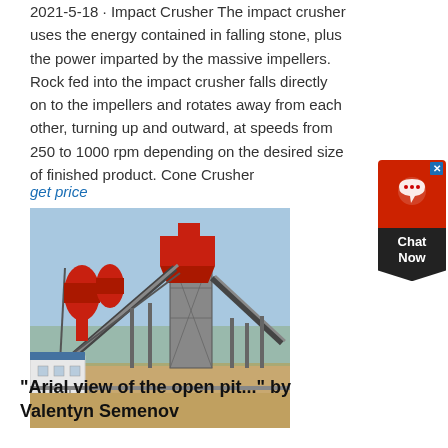2021-5-18 · Impact Crusher The impact crusher uses the energy contained in falling stone, plus the power imparted by the massive impellers. Rock fed into the impact crusher falls directly on to the impellers and rotates away from each other, turning up and outward, at speeds from 250 to 1000 rpm depending on the desired size of finished product. Cone Crusher
get price
[Figure (photo): Aerial view of an open pit mining facility with large red industrial crushing/conveyor equipment, steel framework structures, conveyor belts on diagonal supports, and a small white building at lower left. Clear blue sky background with bare trees visible.]
"Arial view of the open pit..." by Valentyn Semenov